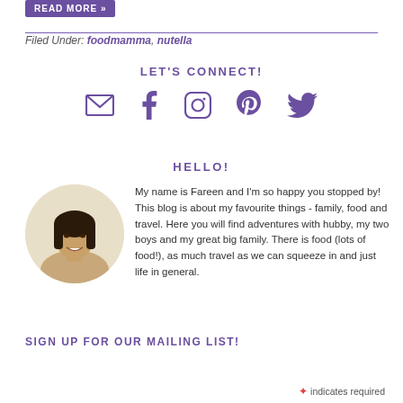READ MORE »
Filed Under: foodmamma, nutella
LET'S CONNECT!
[Figure (illustration): Social media icons: email, facebook, instagram, pinterest, twitter — all in purple]
HELLO!
[Figure (photo): Circular profile photo of Fareen, a woman with dark hair, smiling]
My name is Fareen and I'm so happy you stopped by! This blog is about my favourite things - family, food and travel. Here you will find adventures with hubby, my two boys and my great big family. There is food (lots of food!), as much travel as we can squeeze in and just life in general.
SIGN UP FOR OUR MAILING LIST!
* indicates required